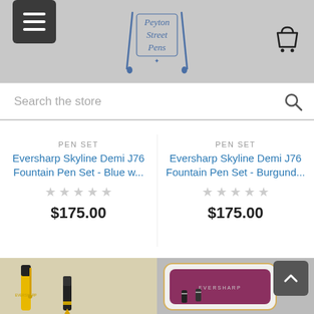[Figure (logo): Peyton Street Pens logo with pen illustrations]
Search the store
PEN SET
Eversharp Skyline Demi J76 Fountain Pen Set - Blue w...
$175.00
PEN SET
Eversharp Skyline Demi J76 Fountain Pen Set - Burgund...
$175.00
[Figure (photo): Yellow Eversharp fountain pen with gold nib, cap removed]
[Figure (photo): Open white Eversharp pen case with gold trim and purple velvet interior containing black pens]